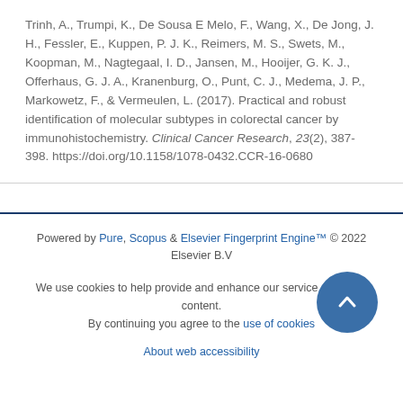Trinh, A., Trumpi, K., De Sousa E Melo, F., Wang, X., De Jong, J. H., Fessler, E., Kuppen, P. J. K., Reimers, M. S., Swets, M., Koopman, M., Nagtegaal, I. D., Jansen, M., Hooijer, G. K. J., Offerhaus, G. J. A., Kranenburg, O., Punt, C. J., Medema, J. P., Markowetz, F., & Vermeulen, L. (2017). Practical and robust identification of molecular subtypes in colorectal cancer by immunohistochemistry. Clinical Cancer Research, 23(2), 387-398. https://doi.org/10.1158/1078-0432.CCR-16-0680
Powered by Pure, Scopus & Elsevier Fingerprint Engine™ © 2022 Elsevier B.V
We use cookies to help provide and enhance our service and tailor content. By continuing you agree to the use of cookies
About web accessibility